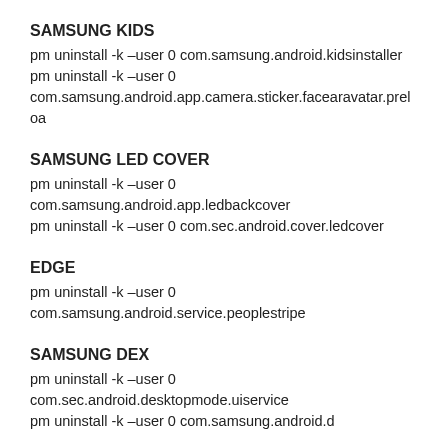SAMSUNG KIDS
pm uninstall -k –user 0 com.samsung.android.kidsinstaller
pm uninstall -k –user 0
com.samsung.android.app.camera.sticker.facearavatar.preloa
SAMSUNG LED COVER
pm uninstall -k –user 0
com.samsung.android.app.ledbackcover
pm uninstall -k –user 0 com.sec.android.cover.ledcover
EDGE
pm uninstall -k –user 0
com.samsung.android.service.peoplestripe
SAMSUNG DEX
pm uninstall -k –user 0
com.sec.android.desktopmode.uiservice
pm uninstall -k –user 0 com.samsung.android.d